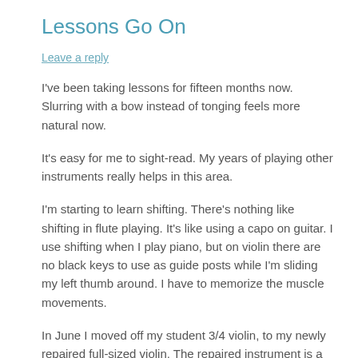Lessons Go On
Leave a reply
I've been taking lessons for fifteen months now. Slurring with a bow instead of tonging feels more natural now.
It's easy for me to sight-read. My years of playing other instruments really helps in this area.
I'm starting to learn shifting. There's nothing like shifting in flute playing. It's like using a capo on guitar. I use shifting when I play piano, but on violin there are no black keys to use as guide posts while I'm sliding my left thumb around. I have to memorize the muscle movements.
In June I moved off my student 3/4 violin, to my newly repaired full-sized violin. The repaired instrument is a student